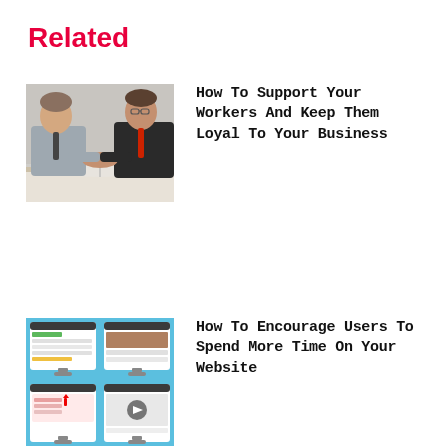Related
[Figure (photo): Two businessmen in suits shaking hands across a desk with an open book, side profile view]
How To Support Your Workers And Keep Them Loyal To Your Business
[Figure (photo): Grid of computer monitor screens displaying various website/app interfaces on a light blue background]
How To Encourage Users To Spend More Time On Your Website